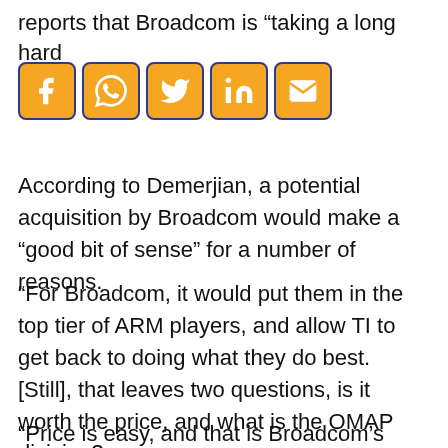reports that Broadcom is “taking a long hard
[Figure (screenshot): Social media sharing icons: Facebook, WhatsApp, Twitter, LinkedIn, Email — orange background with dark blue border]
According to Demerjian, a potential acquisition by Broadcom would make a “good bit of sense” for a number of reasons.
“For Broadcom, it would put them in the top tier of ARM players, and allow TI to get back to doing what they do best. [Still], that leaves two questions, is it worth the price, and what is the OMAP division?
“Price is easy, and that is Broadcom’s decision.